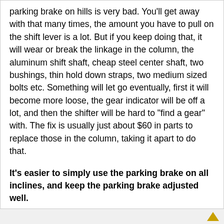parking brake on hills is very bad. You'll get away with that many times, the amount you have to pull on the shift lever is a lot. But if you keep doing that, it will wear or break the linkage in the column, the aluminum shift shaft, cheap steel center shaft, two bushings, thin hold down straps, two medium sized bolts etc. Something will let go eventually, first it will become more loose, the gear indicator will be off a lot, and then the shifter will be hard to "find a gear" with. The fix is usually just about $60 in parts to replace those in the column, taking it apart to do that.
It's easier to simply use the parking brake on all inclines, and keep the parking brake adjusted well.